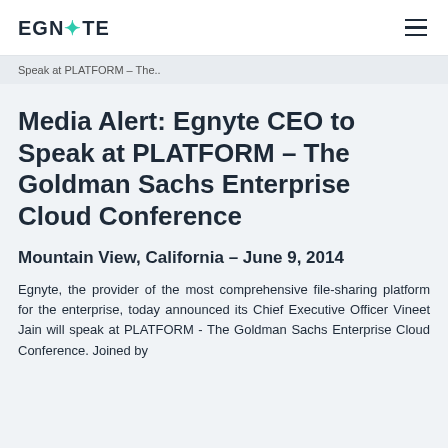EGNYTE
Speak at PLATFORM – The..
Media Alert: Egnyte CEO to Speak at PLATFORM – The Goldman Sachs Enterprise Cloud Conference
Mountain View, California – June 9, 2014
Egnyte, the provider of the most comprehensive file-sharing platform for the enterprise, today announced its Chief Executive Officer Vineet Jain will speak at PLATFORM - The Goldman Sachs Enterprise Cloud Conference. Joined by